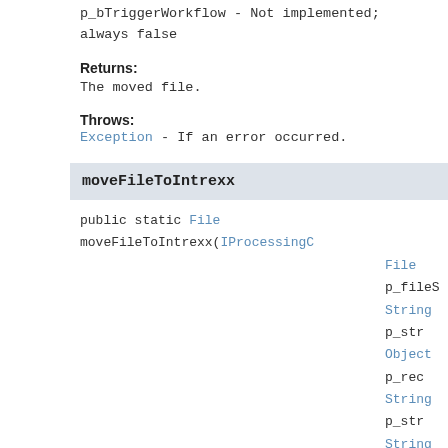p_bTriggerWorkflow - Not implemented; always false
Returns:
The moved file.
Throws:
Exception - If an error occurred.
moveFileToIntrexx
public static File moveFileToIntrexx(IProcessingContext p_ctx, File p_fileS, String p_str, Object p_rec, String p_str, String p_str, boolean p_bT, boolean p_bA) throws Exception
Parameters:
p_ctx - The processing context.